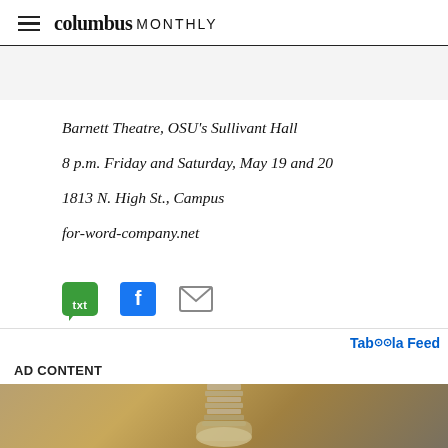columbus MONTHLY
Barnett Theatre, OSU's Sullivant Hall
8 p.m. Friday and Saturday, May 19 and 20
1813 N. High St., Campus
for-word-company.net
[Figure (other): Social share buttons: txt (green), Facebook (blue), email (envelope icon)]
Taboola Feed
AD CONTENT
[Figure (photo): Bottom portion of a light bulb against a warm brown/tan background]